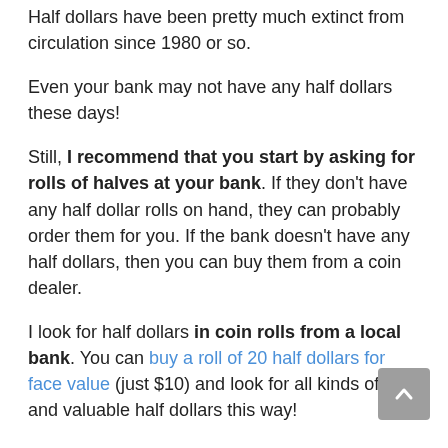Half dollars have been pretty much extinct from circulation since 1980 or so.
Even your bank may not have any half dollars these days!
Still, I recommend that you start by asking for rolls of halves at your bank. If they don't have any half dollar rolls on hand, they can probably order them for you. If the bank doesn't have any half dollars, then you can buy them from a coin dealer.
I look for half dollars in coin rolls from a local bank. You can buy a roll of 20 half dollars for face value (just $10) and look for all kinds of old and valuable half dollars this way!